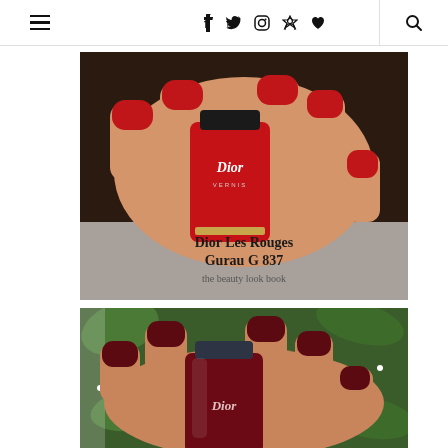Navigation bar with hamburger menu, social icons (Facebook, Twitter, Instagram, Pinterest, Heart), and search icon
[Figure (photo): Hand holding a red Dior Vernis nail polish bottle with red painted nails. Text overlay reads 'Dior Les Rouges Gurau G 837' and 'the beauty look book']
[Figure (photo): Hand holding a dark burgundy/maroon Dior nail polish bottle with dark red painted nails against green foliage background]